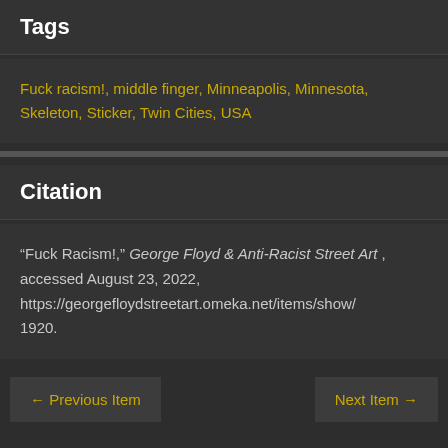Tags
Fuck racism!, middle finger, Minneapolis, Minnesota, Skeleton, Sticker, Twin Cities, USA
Citation
“Fuck Racism!,” George Floyd & Anti-Racist Street Art , accessed August 23, 2022, https://georgefloydstreetart.omeka.net/items/show/1920.
← Previous Item | Next Item →